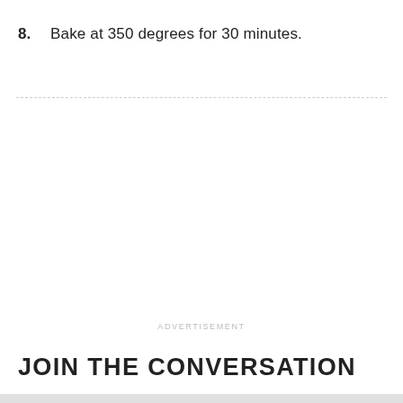8.  Bake at 350 degrees for 30 minutes.
ADVERTISEMENT
JOIN THE CONVERSATION